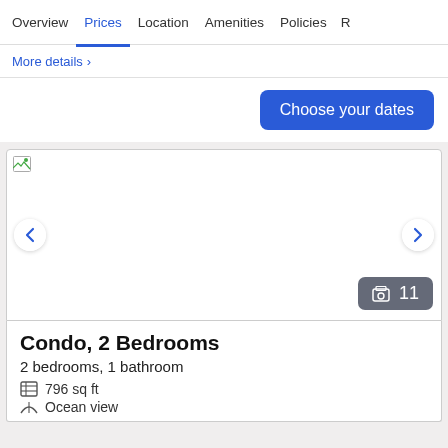Overview | Prices | Location | Amenities | Policies | R...
More details >
Choose your dates
[Figure (photo): Condo room photo carousel with navigation arrows and photo count badge showing 11 photos]
Condo, 2 Bedrooms
2 bedrooms, 1 bathroom
796 sq ft
Ocean view